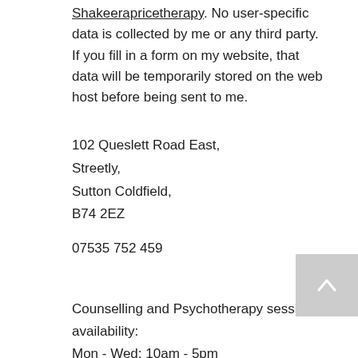Shakeerapricetherapy. No user-specific data is collected by me or any third party. If you fill in a form on my website, that data will be temporarily stored on the web host before being sent to me.
102 Queslett Road East,
Streetly,
Sutton Coldfield,
B74 2EZ
07535 752 459
Counselling and Psychotherapy session availability:
Mon - Wed: 10am - 5pm
Thursday- 10am- 6pm